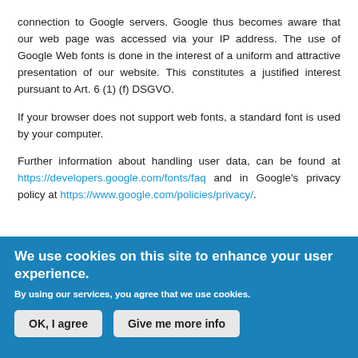connection to Google servers. Google thus becomes aware that our web page was accessed via your IP address. The use of Google Web fonts is done in the interest of a uniform and attractive presentation of our website. This constitutes a justified interest pursuant to Art. 6 (1) (f) DSGVO.
If your browser does not support web fonts, a standard font is used by your computer.
Further information about handling user data, can be found at https://developers.google.com/fonts/faq and in Google's privacy policy at https://www.google.com/policies/privacy/.
SEARCH
We use cookies on this site to enhance your user experience.
By using our services, you agree that we use cookies.
OK, I agree   Give me more info